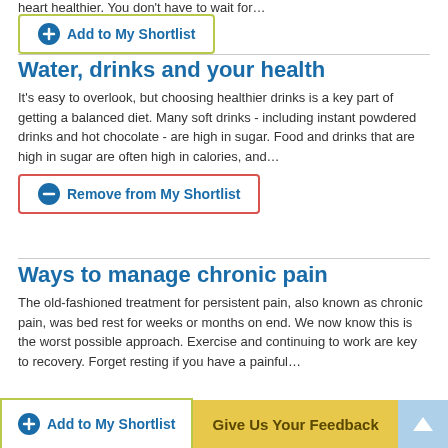heart healthier. You don't have to wait for…
Add to My Shortlist
Water, drinks and your health
It's easy to overlook, but choosing healthier drinks is a key part of getting a balanced diet. Many soft drinks - including instant powdered drinks and hot chocolate - are high in sugar. Food and drinks that are high in sugar are often high in calories, and…
Remove from My Shortlist
Ways to manage chronic pain
The old-fashioned treatment for persistent pain, also known as chronic pain, was bed rest for weeks or months on end. We now know this is the worst possible approach. Exercise and continuing to work are key to recovery. Forget resting if you have a painful…
Add to My Shortlist
Give Us Your Feedback